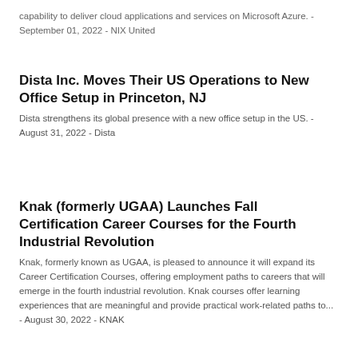capability to deliver cloud applications and services on Microsoft Azure. - September 01, 2022 - NIX United
Dista Inc. Moves Their US Operations to New Office Setup in Princeton, NJ
Dista strengthens its global presence with a new office setup in the US. - August 31, 2022 - Dista
Knak (formerly UGAA) Launches Fall Certification Career Courses for the Fourth Industrial Revolution
Knak, formerly known as UGAA, is pleased to announce it will expand its Career Certification Courses, offering employment paths to careers that will emerge in the fourth industrial revolution. Knak courses offer learning experiences that are meaningful and provide practical work-related paths to... - August 30, 2022 - KNAK